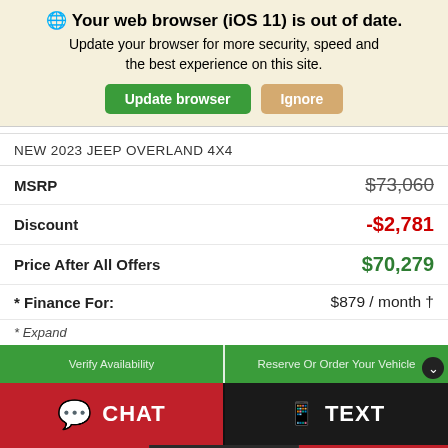🌐 Your web browser (iOS 11) is out of date. Update your browser for more security, speed and the best experience on this site.
Update browser | Ignore
NEW 2023 JEEP OVERLAND 4X4
|  |  |
| --- | --- |
| MSRP | $73,060 |
| Discount | -$2,781 |
| Price After All Offers | $70,279 |
| * Finance For: | $879 / month † |
* Expand
Verify Availability  |  Reserve Or Order Your Vehicle
CHAT | TEXT
Contact | Filter | Lifetime Warranty